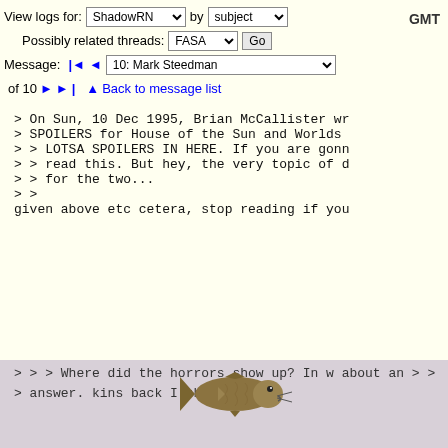View logs for: ShadowRN  by  subject
Possibly related threads: FASA  Go
Message:  |◄◄  10: Mark Steedman
of 10 ►► |   ▲ Back to message list
GMT
> On Sun, 10 Dec 1995, Brian McCallister wr
> SPOILERS for House of the Sun and Worlds
> > LOTSA SPOILERS IN HERE. If you are gonn
> > read this. But hey, the very topic of d
> > for the two...
> >
given above etc cetera, stop reading if you
> > I love horrors :-) They are the only re
> >
> > > Where did the horrors show up? In w
about an
> > > answer. Hankins back I think onl
up
[Figure (illustration): Image of a fish (carp) overlaid on the bottom bar of the email thread viewer]